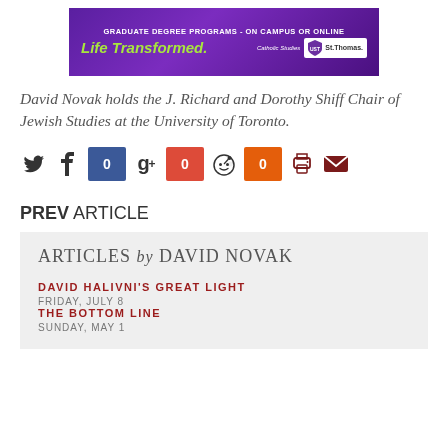[Figure (illustration): Purple banner advertisement for St. Thomas University graduate degree programs. Text: 'GRADUATE DEGREE PROGRAMS - ON CAMPUS OR ONLINE', 'Life Transformed.', 'Catholic Studies | St. Thomas.']
David Novak holds the J. Richard and Dorothy Shiff Chair of Jewish Studies at the University of Toronto.
[Figure (other): Social sharing icons row: Twitter bird icon, Facebook icon with blue count box showing 0, Google+ icon with red count box showing 0, Reddit alien icon with orange count box showing 0, print icon, email/envelope icon.]
PREV ARTICLE
ARTICLES by DAVID NOVAK
DAVID HALIVNI'S GREAT LIGHT
FRIDAY, JULY 8
THE BOTTOM LINE
SUNDAY, MAY 1